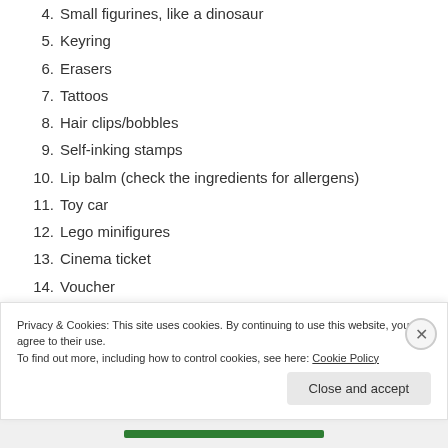4. Small figurines, like a dinosaur
5. Keyring
6. Erasers
7. Tattoos
8. Hair clips/bobbles
9. Self-inking stamps
10. Lip balm (check the ingredients for allergens)
11. Toy car
12. Lego minifigures
13. Cinema ticket
14. Voucher
15. IOU for a movie night
Privacy & Cookies: This site uses cookies. By continuing to use this website, you agree to their use. To find out more, including how to control cookies, see here: Cookie Policy
Close and accept